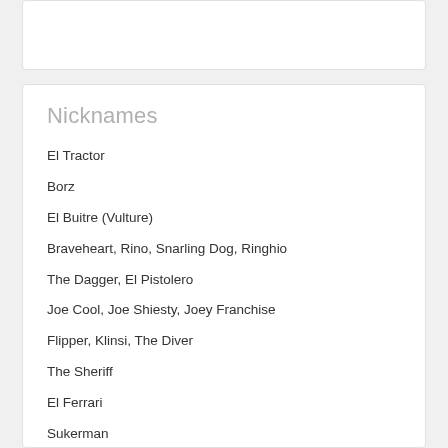Nicknames
El Tractor
Borz
El Buitre (Vulture)
Braveheart, Rino, Snarling Dog, Ringhio
The Dagger, El Pistolero
Joe Cool, Joe Shiesty, Joey Franchise
Flipper, Klinsi, The Diver
The Sheriff
El Ferrari
Sukerman